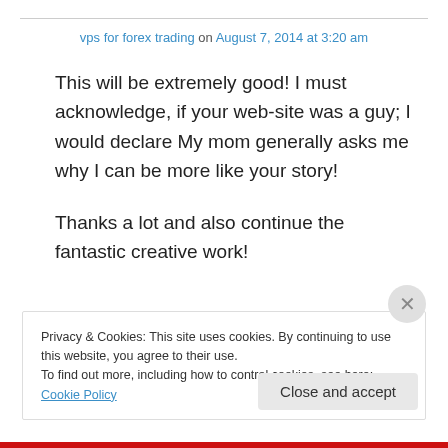vps for forex trading on August 7, 2014 at 3:20 am
This will be extremely good! I must acknowledge, if your web-site was a guy; I would declare My mom generally asks me why I can be more like your story!

Thanks a lot and also continue the fantastic creative work!
★ Like
Privacy & Cookies: This site uses cookies. By continuing to use this website, you agree to their use. To find out more, including how to control cookies, see here: Cookie Policy
Close and accept